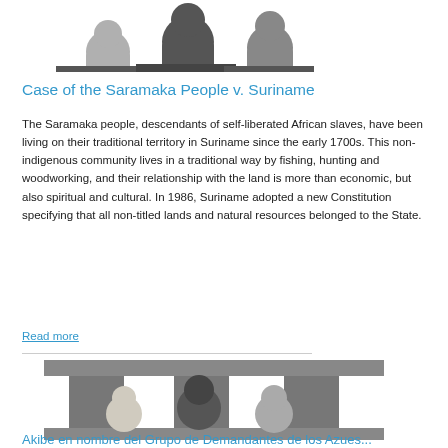[Figure (illustration): Grayscale illustration of a group of people silhouettes, partially visible at top of page]
Case of the Saramaka People v. Suriname
The Saramaka people, descendants of self-liberated African slaves, have been living on their traditional territory in Suriname since the early 1700s. This non-indigenous community lives in a traditional way by fishing, hunting and woodworking, and their relationship with the land is more than economic, but also spiritual and cultural. In 1986, Suriname adopted a new Constitution specifying that all non-titled lands and natural resources belonged to the State.
Read more
[Figure (illustration): Grayscale illustration of three people standing in front of pillars representing a courthouse or legal institution]
Akibe en nombre del Grupo de Demandantes de los Azues...